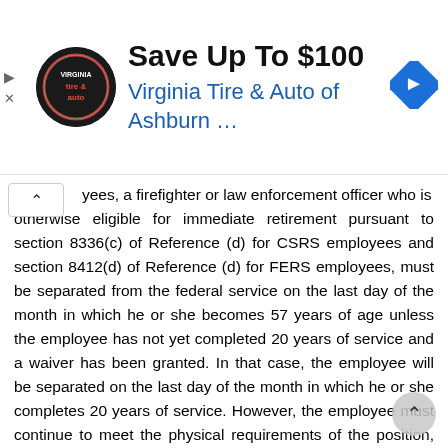[Figure (other): Advertisement banner: Virginia Tire & Auto of Ashburn logo and 'Save Up To $100' offer]
yees, a firefighter or law enforcement officer who is otherwise eligible for immediate retirement pursuant to section 8336(c) of Reference (d) for CSRS employees and section 8412(d) of Reference (d) for FERS employees, must be separated from the federal service on the last day of the month in which he or she becomes 57 years of age unless the employee has not yet completed 20 years of service and a waiver has been granted. In that case, the employee will be separated on the last day of the month in which he or she completes 20 years of service. However, the employee must continue to meet the physical requirements of the position, and if the employee cannot meet those requirements, he or she will have to be removed from the position. b. Notification Requirements. Employing offices are responsible for notifying covered employees in writing of the date of separation at least 60 days before that date. In accordance with sections 8335(b)(1) and 8425(b)(1) of Reference (d), action to separate...